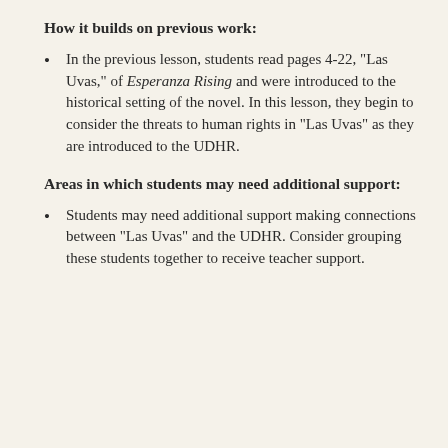How it builds on previous work:
In the previous lesson, students read pages 4-22, "Las Uvas," of Esperanza Rising and were introduced to the historical setting of the novel. In this lesson, they begin to consider the threats to human rights in "Las Uvas" as they are introduced to the UDHR.
Areas in which students may need additional support:
Students may need additional support making connections between "Las Uvas" and the UDHR. Consider grouping these students together to receive teacher support.